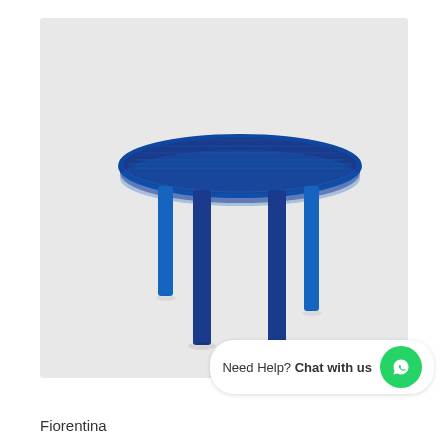[Figure (photo): A blue round plastic garden table with four legs, photographed on a light grey background. The table has a circular top with horizontal ridges and four sturdy blue plastic legs.]
Need Help? Chat with us
Fiorentina